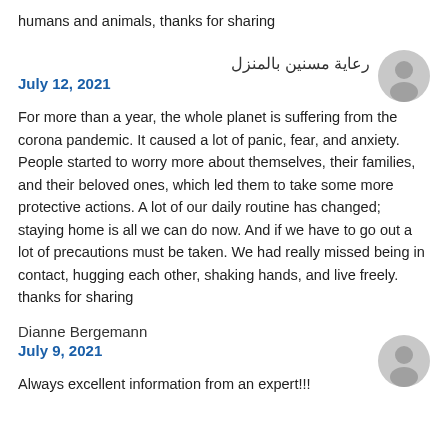humans and animals, thanks for sharing
رعاية مسنين بالمنزل
July 12, 2021
For more than a year, the whole planet is suffering from the corona pandemic. It caused a lot of panic, fear, and anxiety. People started to worry more about themselves, their families, and their beloved ones, which led them to take some more protective actions. A lot of our daily routine has changed; staying home is all we can do now. And if we have to go out a lot of precautions must be taken. We had really missed being in contact, hugging each other, shaking hands, and live freely. thanks for sharing
Dianne Bergemann
July 9, 2021
Always excellent information from an expert!!!